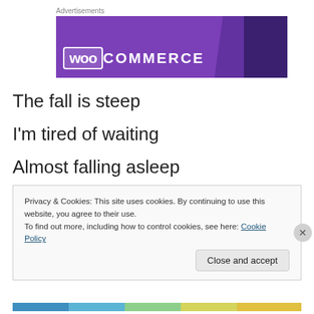Advertisements
[Figure (logo): WooCommerce advertisement banner with purple background and white WooCommerce logo text]
The fall is steep
I'm tired of waiting
Almost falling asleep
Privacy & Cookies: This site uses cookies. By continuing to use this website, you agree to their use.
To find out more, including how to control cookies, see here: Cookie Policy
Close and accept